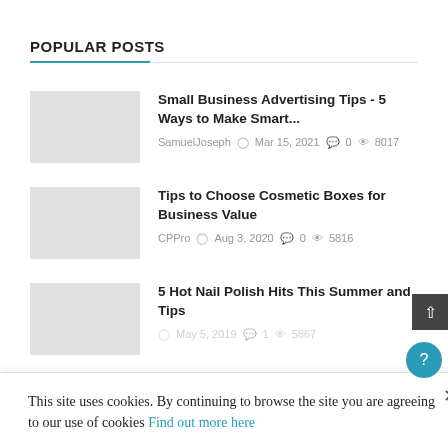POPULAR POSTS
Small Business Advertising Tips - 5 Ways to Make Smart...
SamuelJoseph  Mar 15, 2021  0  8017
Tips to Choose Cosmetic Boxes for Business Value
CPPro  Aug 3, 2020  0  5816
5 Hot Nail Polish Hits This Summer and Tips
This site uses cookies. By continuing to browse the site you are agreeing to our use of cookies Find out more here